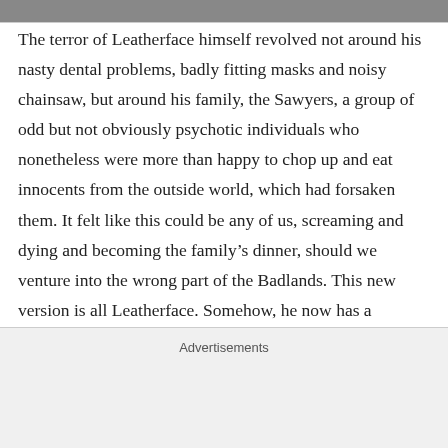[Figure (photo): Partial image strip visible at the top of the page, cropped]
The terror of Leatherface himself revolved not around his nasty dental problems, badly fitting masks and noisy chainsaw, but around his family, the Sawyers, a group of odd but not obviously psychotic individuals who nonetheless were more than happy to chop up and eat innocents from the outside world, which had forsaken them. It felt like this could be any of us, screaming and dying and becoming the family’s dinner, should we venture into the wrong part of the Badlands. This new version is all Leatherface. Somehow, he now has a “mother” who looks after him in an abandoned
Advertisements